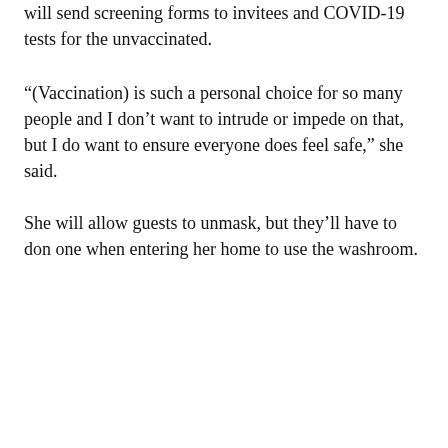will send screening forms to invitees and COVID-19 tests for the unvaccinated.
“(Vaccination) is such a personal choice for so many people and I don’t want to intrude or impede on that, but I do want to ensure everyone does feel safe,” she said.
She will allow guests to unmask, but they’ll have to don one when entering her home to use the washroom.
[Figure (illustration): KMS Tools Hand Tools Sale advertisement. Blue background with white and red text. Reads: KMS Tools, Hand Tools, SALE, Sept 1-30, Extra Discounts During Our 3-DAY SALE, GRAND OPENING. Tools imagery at bottom.]